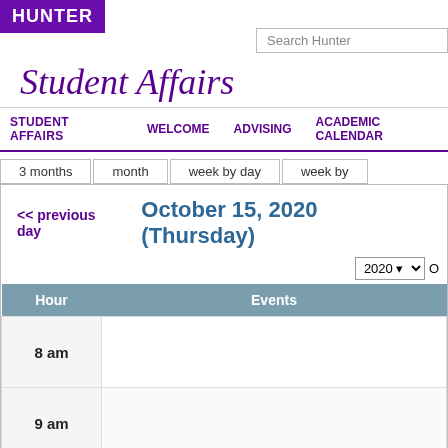HUNTER
Search Hunter
Student Affairs
STUDENT AFFAIRS | WELCOME | ADVISING | ACADEMIC CALENDAR
3 months | month | week by day | week by
<< previous day
October 15, 2020 (Thursday)
2020
| Hour | Events |
| --- | --- |
| 8 am |  |
| 9 am |  |
| 10 am |  |
| 11 |  |